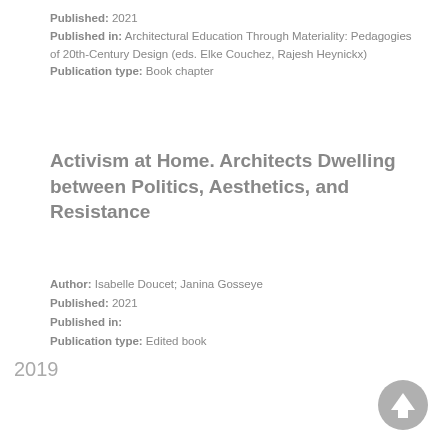Published: 2021
Published in: Architectural Education Through Materiality: Pedagogies of 20th-Century Design (eds. Elke Couchez, Rajesh Heynickx)
Publication type: Book chapter
Activism at Home. Architects Dwelling between Politics, Aesthetics, and Resistance
Author: Isabelle Doucet; Janina Gosseye
Published: 2021
Published in:
Publication type: Edited book
2019
[Figure (other): A circular grey scroll-to-top button with an upward arrow icon in the bottom-right corner]